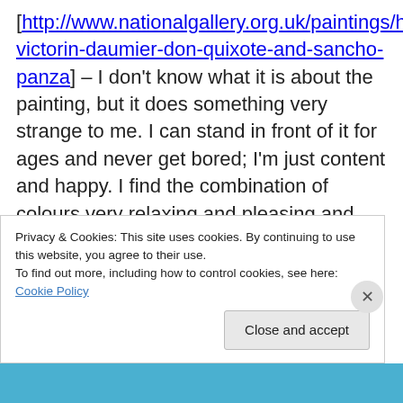[http://www.nationalgallery.org.uk/paintings/honore-victorin-daumier-don-quixote-and-sancho-panza] – I don't know what it is about the painting, but it does something very strange to me. I can stand in front of it for ages and never get bored; I'm just content and happy. I find the combination of colours very relaxing and pleasing and the overlapping lines of the picture never cease to interest me. The rest of the world seems to disappear whenever I'm in the room with it. If I've got five minutes spare and I'm near the Gallery, I'll pop in and have a quick look. My partner recently bought me a framed print of the picture. That
Privacy & Cookies: This site uses cookies. By continuing to use this website, you agree to their use.
To find out more, including how to control cookies, see here: Cookie Policy